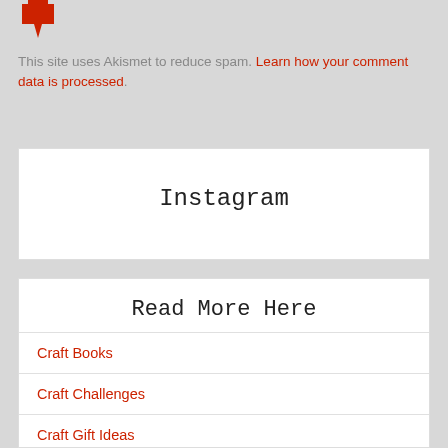[Figure (illustration): Red heart/arrow icon at top left]
This site uses Akismet to reduce spam. Learn how your comment data is processed.
Instagram
Read More Here
Craft Books
Craft Challenges
Craft Gift Ideas
Crafty Business